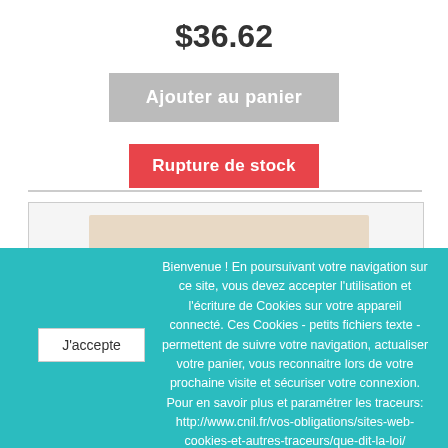$36.62
Ajouter au panier
Rupture de stock
[Figure (photo): Product image area showing a beige/cream colored rectangular item on a light grey background]
Bienvenue ! En poursuivant votre navigation sur ce site, vous devez accepter l'utilisation et l'écriture de Cookies sur votre appareil connecté. Ces Cookies - petits fichiers texte - permettent de suivre votre navigation, actualiser votre panier, vous reconnaitre lors de votre prochaine visite et sécuriser votre connexion. Pour en savoir plus et paramétrer les traceurs: http://www.cnil.fr/vos-obligations/sites-web-cookies-et-autres-traceurs/que-dit-la-loi/
J'accepte